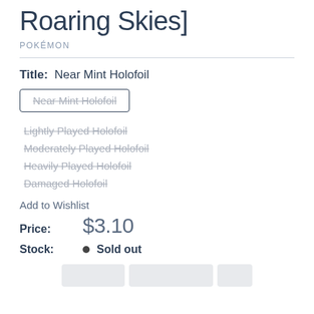Roaring Skies]
POKÉMON
Title:  Near Mint Holofoil
Near Mint Holofoil
Lightly Played Holofoil
Moderately Played Holofoil
Heavily Played Holofoil
Damaged Holofoil
Add to Wishlist
Price: $3.10
Stock: • Sold out